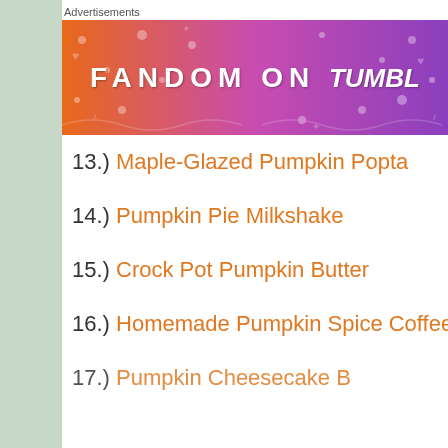Advertisements
[Figure (illustration): Fandom on Tumblr advertisement banner with orange to purple gradient background and decorative icons]
13.) Maple-Glazed Pumpkin Popta
14.) Pumpkin Pie Milkshake
15.) Crock Pot Pumpkin Butter
16.) Homemade Pumpkin Spice Coffee C
17.) Pumpkin Cheesecake B
Advertisements
[Figure (illustration): DuckDuckGo advertisement: Search, browse, and email with more privacy. All in One Free App. Shows phone with DuckDuckGo logo.]